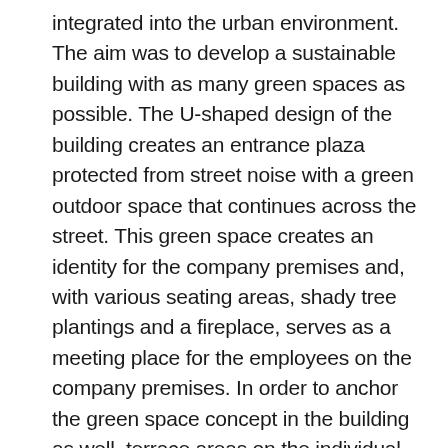integrated into the urban environment. The aim was to develop a sustainable building with as many green spaces as possible. The U-shaped design of the building creates an entrance plaza protected from street noise with a green outdoor space that continues across the street. This green space creates an identity for the company premises and, with various seating areas, shady tree plantings and a fireplace, serves as a meeting place for the employees on the company premises. In order to anchor the green space concept in the building as well, terrace areas on the individual levels are intensively planted with greenery.
Employees and visitors enter the new functional building via a spacious foyer, which continues the idea of an open building horizontally and vertically. The